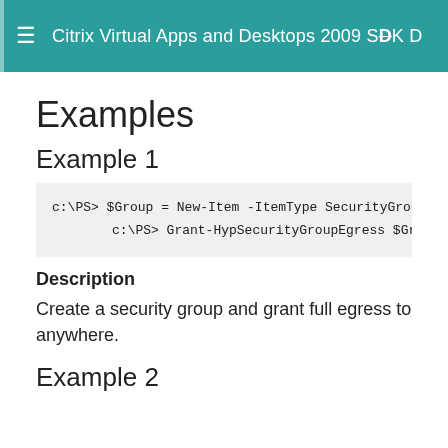Citrix Virtual Apps and Desktops 2009 SDK D
Examples
Example 1
c:\PS> $Group = New-Item -ItemType SecurityGroup -Pat
          c:\PS> Grant-HypSecurityGroupEgress $Group.
Description
Create a security group and grant full egress to anywhere.
Example 2